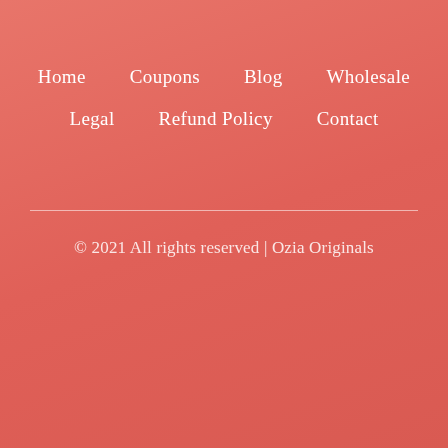Home
Coupons
Blog
Wholesale
Legal
Refund Policy
Contact
© 2021 All rights reserved | Ozia Originals